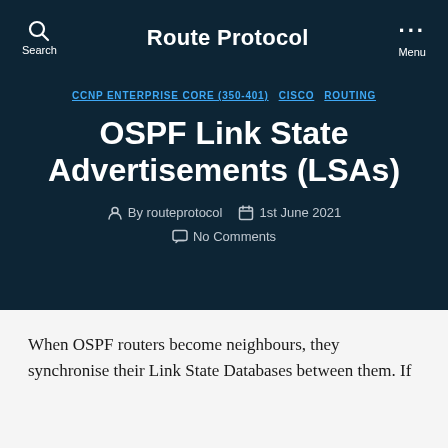Route Protocol
CCNP ENTERPRISE CORE (350-401)  CISCO  ROUTING
OSPF Link State Advertisements (LSAs)
By routeprotocol  1st June 2021  No Comments
When OSPF routers become neighbours, they synchronise their Link State Databases between them. If